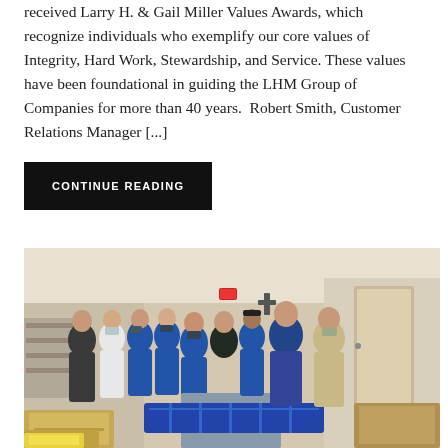received Larry H. & Gail Miller Values Awards, which recognize individuals who exemplify our core values of Integrity, Hard Work, Stewardship, and Service. These values have been foundational in guiding the LHM Group of Companies for more than 40 years.  Robert Smith, Customer Relations Manager [...]
CONTINUE READING
[Figure (photo): Group photo of approximately 10-11 people, many wearing blue t-shirts with text on them, some wearing masks, standing in what appears to be a community center or food bank with cardboard boxes and blue plastic crates in the foreground, a cross on the wall, and a door in the background.]